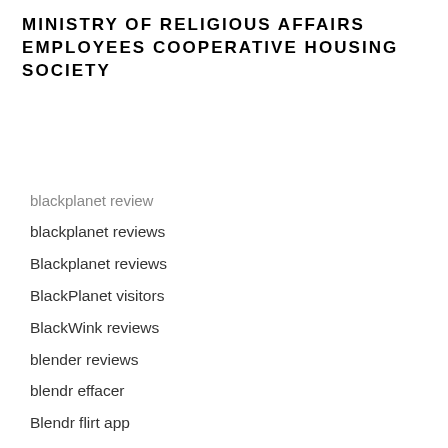MINISTRY OF RELIGIOUS AFFAIRS EMPLOYEES COOPERATIVE HOUSING SOCIETY
blackplanet review
blackplanet reviews
Blackplanet reviews
BlackPlanet visitors
BlackWink reviews
blender reviews
blendr effacer
Blendr flirt app
Blendr review
blendr sign in